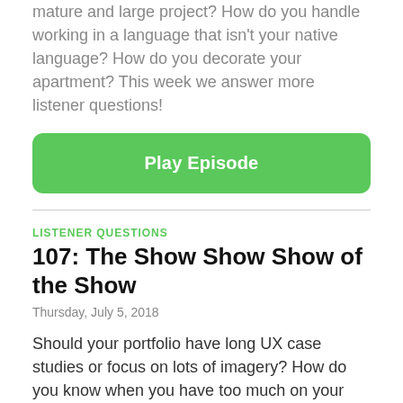mature and large project? How do you handle working in a language that isn't your native language? How do you decorate your apartment? This week we answer more listener questions!
Play Episode
LISTENER QUESTIONS
107: The Show Show Show of the Show
Thursday, July 5, 2018
Should your portfolio have long UX case studies or focus on lots of imagery? How do you know when you have too much on your plate and how do you